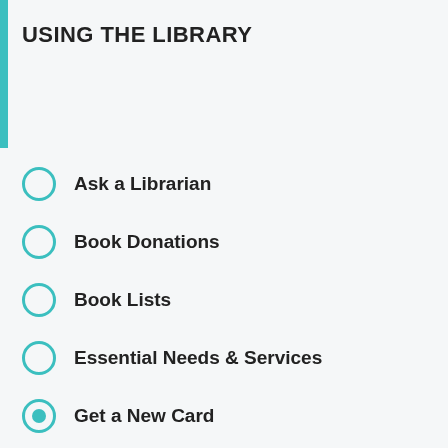USING THE LIBRARY
Ask a Librarian
Book Donations
Book Lists
Essential Needs & Services
Get a New Card
Create/Reset Your Pin
Paying Fines
Borrower Info
Library Policies
My Library Account